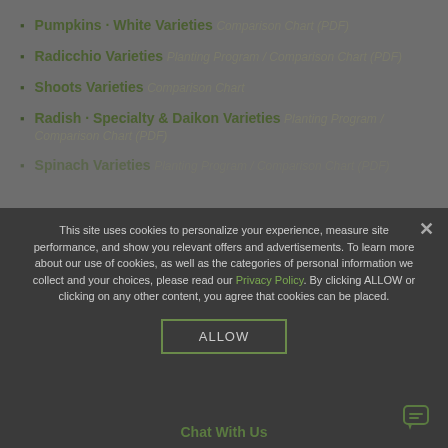Pumpkins · White Varieties Comparison Chart (PDF)
Radicchio Varieties Planting Program / Comparison Chart (PDF)
Shoots Varieties Comparison Chart
Radish · Specialty & Daikon Varieties Planting Program / Comparison Chart (PDF)
Spinach Varieties Planting Program / Comparison Chart (PDF)
This site uses cookies to personalize your experience, measure site performance, and show you relevant offers and advertisements. To learn more about our use of cookies, as well as the categories of personal information we collect and your choices, please read our Privacy Policy. By clicking ALLOW or clicking on any other content, you agree that cookies can be placed.
ALLOW
Chat With Us